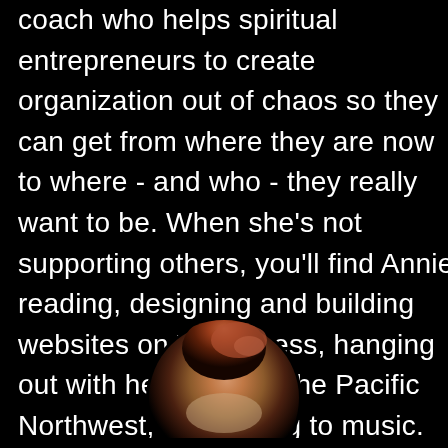coach who helps spiritual entrepreneurs to create organization out of chaos so they can get from where they are now to where - and who - they really want to be. When she's not supporting others, you'll find Annie reading, designing and building websites on WordPress, hanging out with her family in the Pacific Northwest, or listening to music.
[Figure (photo): Circular portrait photo of a person (Annie) with reddish-brown hair, partially visible at the bottom of the page against a black background]